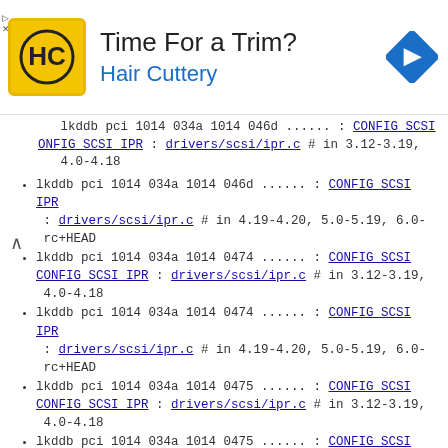[Figure (advertisement): Hair Cuttery advertisement banner with logo, 'Time For a Trim?' text, and navigation icon]
lkddb pci 1014 034a 1014 046d ...... : CONFIG SCSI ONFIG SCSI IPR : drivers/scsi/ipr.c # in 3.12-3.19, 4.0-4.18
lkddb pci 1014 034a 1014 046d ...... : CONFIG SCSI IPR : drivers/scsi/ipr.c # in 4.19-4.20, 5.0-5.19, 6.0-rc+HEAD
lkddb pci 1014 034a 1014 0474 ...... : CONFIG SCSI CONFIG SCSI IPR : drivers/scsi/ipr.c # in 3.12-3.19, 4.0-4.18
lkddb pci 1014 034a 1014 0474 ...... : CONFIG SCSI IPR : drivers/scsi/ipr.c # in 4.19-4.20, 5.0-5.19, 6.0-rc+HEAD
lkddb pci 1014 034a 1014 0475 ...... : CONFIG SCSI CONFIG SCSI IPR : drivers/scsi/ipr.c # in 3.12-3.19, 4.0-4.18
lkddb pci 1014 034a 1014 0475 ...... : CONFIG SCSI IPR : drivers/scsi/ipr.c # in 4.19-4.20, 5.0-5.19, 6.0-rc+HEAD
lkddb pci 1014 034a 1014 0499 ...... : CONFIG SCSI CONFIG SCSI IPR : drivers/scsi/ipr.c # in 3.12-3.19, 4.0-4.18
lkddb pci 1014 034a 1014 0499 ...... : CONFIG SCSI IPR : drivers/scsi/ipr.c # in 4.19-4.20, 5.0-5.19, 6.0-rc+HEAD
lkddb pci 1014 034a 1014 049a ...... : CONFIG SCSI